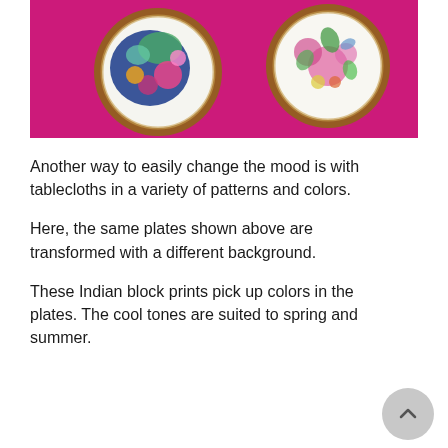[Figure (photo): Two decorative porcelain plates with floral patterns in blue, pink, green, yellow on a bright magenta/pink background. The plates have gold braided rims. Left plate has bold colorful Asian-style floral motifs; right plate has delicate flowers and a bird.]
Another way to easily change the mood is with tablecloths in a variety of patterns and colors.
Here, the same plates shown above are transformed with a different background.
These Indian block prints pick up colors in the plates. The cool tones are suited to spring and summer.